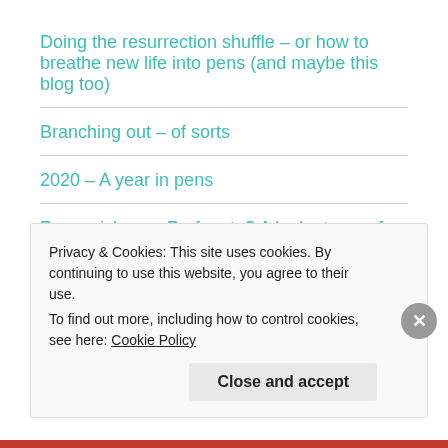Doing the resurrection shuffle – or how to breathe new life into pens (and maybe this blog too)
Branching out – of sorts
2020 – A year in pens
P-p-p-pick up a Prefounte? A look at one of Platinum's budget fountain pens
[partial — clipped]
Privacy & Cookies: This site uses cookies. By continuing to use this website, you agree to their use. To find out more, including how to control cookies, see here: Cookie Policy
Close and accept